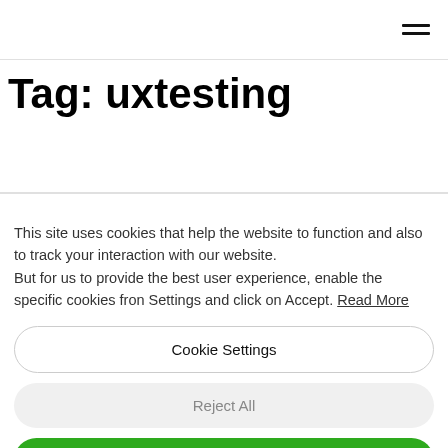≡
Tag: uxtesting
This site uses cookies that help the website to function and also to track your interaction with our website. But for us to provide the best user experience, enable the specific cookies fron Settings and click on Accept. Read More
Cookie Settings
Reject All
Accept All